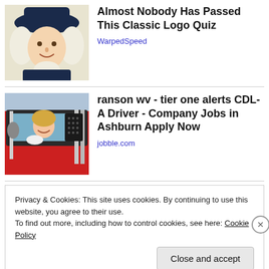[Figure (illustration): Illustration of a colonial-era figure (resembling Quaker Oats man) with white wig and dark hat]
Almost Nobody Has Passed This Classic Logo Quiz
WarpedSpeed
[Figure (photo): Photo of a woman driving a red semi-truck, smiling from the cab window]
ranson wv - tier one alerts CDL-A Driver - Company Jobs in Ashburn Apply Now
jobble.com
Privacy & Cookies: This site uses cookies. By continuing to use this website, you agree to their use.
To find out more, including how to control cookies, see here: Cookie Policy
Close and accept